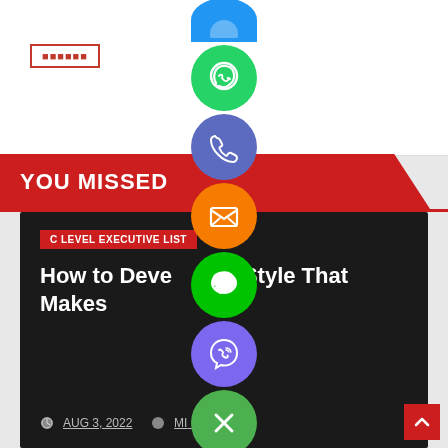[Figure (screenshot): Top white section with a red-bordered tag box containing non-Latin characters (squares), overlaid by social media sharing icons (WhatsApp green, phone blue-purple, email orange, LINE green, Viber purple, close green) arranged vertically in the center of the page]
YOU MISSED
[Figure (photo): Dark article card on dark background showing category label 'C LEVEL EXECUTIVE LIST' and article title 'How to Develop a Style That Makes']
C LEVEL EXECUTIVE LIST
How to Devel Style That Makes
AUG 3, 2022   MI OKUL